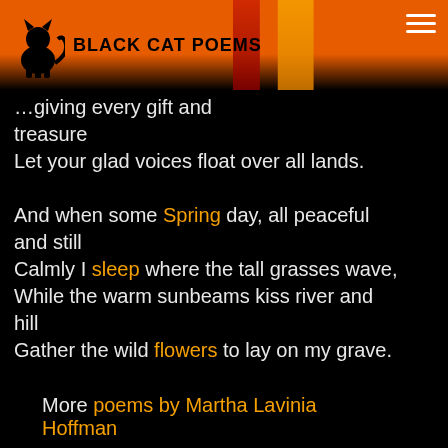BLACK CAT POEMS
…giving every gift and treasure
Let your glad voices float over all lands.

And when some Spring day, all peaceful and still
Calmly I sleep where the tall grasses wave,
While the warm sunbeams kiss river and hill
Gather the wild flowers to lay on my grave.
More poems by Martha Lavinia Hoffman